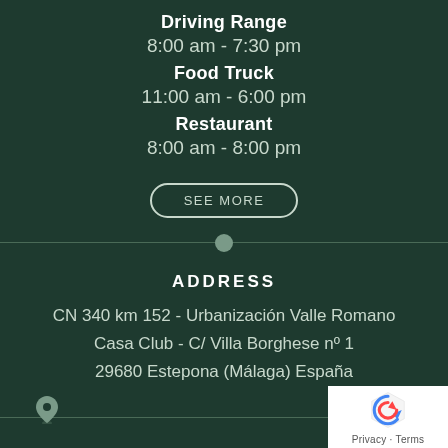Driving Range
8:00 am - 7:30 pm
Food Truck
11:00 am - 6:00 pm
Restaurant
8:00 am - 8:00 pm
SEE MORE
ADDRESS
CN 340 km 152 - Urbanización Valle Romano
Casa Club - C/ Villa Borghese nº 1
29680 Estepona (Málaga) España
[Figure (other): reCAPTCHA badge with privacy and terms links]